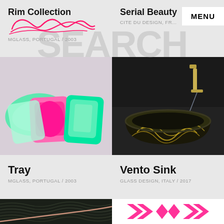Rim Collection
MGLASS, PORTUGAL / 2003
Serial Beauty
CITE DU DESIGN, FRANCE
MENU
[Figure (photo): Colorful plastic trays in green and pink on light purple background]
[Figure (photo): Dark ceramic round sink with gold swirl pattern on dark background, with gold wall-mounted faucet]
Tray
MGLASS, PORTUGAL / 2003
Vento Sink
GLASS DESIGN, ITALY / 2017
[Figure (photo): Dark green/black wavy textile or material surface close-up]
[Figure (logo): Pink geometric diamond/arrow shapes arranged as a logo on white background]